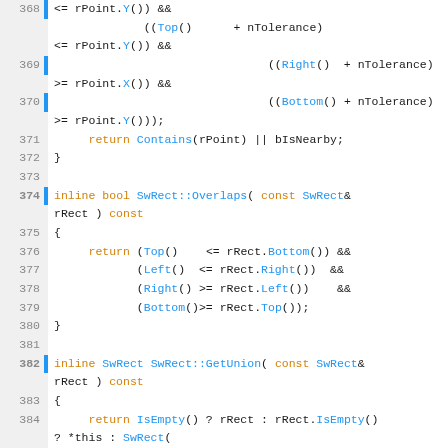[Figure (screenshot): Source code viewer showing C++ inline method definitions for SwRect class, lines 368-392, with syntax highlighting: blue for function/type names, orange for keywords, gray line numbers, green/blue gutters.]